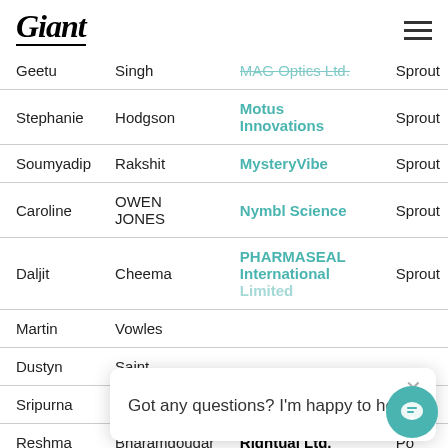Giant
| First | Last | Company | Plan |
| --- | --- | --- | --- |
| Geetu | Singh | MAG Optics Ltd. | Sprout |
| Stephanie | Hodgson | Motus Innovations | Sprout |
| Soumyadip | Rakshit | MysteryVibe | Sprout |
| Caroline | OWEN JONES | Nymbl Science | Sprout |
| Daljit | Cheema | PHARMASEAL International Limited | Sprout |
| Martin | Vowles |  |  |
| Dustyn | Saint |  |  |
| Sripurna | Basu | Pulse - Consult | Poll... |
| Reshma | Bharamgoudar | Rightual Ltd. | Po... |
Got any questions? I'm happy to help.